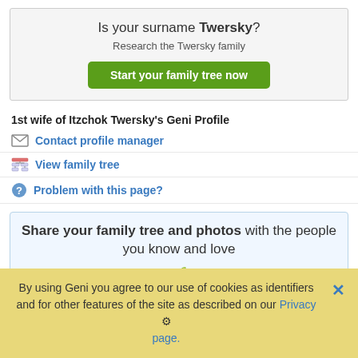Is your surname Twersky?
Research the Twersky family
Start your family tree now
1st wife of Itzchok Twersky's Geni Profile
Contact profile manager
View family tree
Problem with this page?
Share your family tree and photos with the people you know and love
[Figure (screenshot): Family tree diagram showing Richard Allen Loweke (1963) and Sherri Lynn Gilchrist (1966) connected by a line with a green leaf icon above]
By using Geni you agree to our use of cookies as identifiers and for other features of the site as described on our Privacy page.